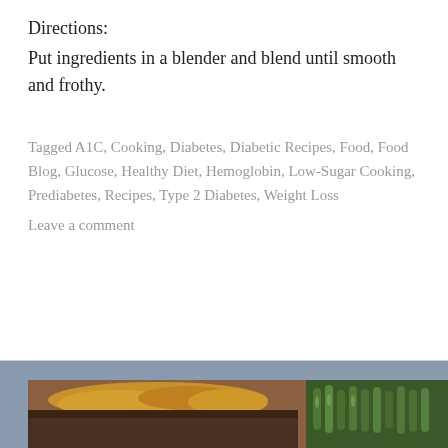Directions:
Put ingredients in a blender and blend until smooth and frothy.
Tagged A1C, Cooking, Diabetes, Diabetic Recipes, Food, Food Blog, Glucose, Healthy Diet, Hemoglobin, Low-Sugar Cooking, Prediabetes, Recipes, Type 2 Diabetes, Weight Loss
Leave a comment
[Figure (photo): A food photo showing a baked dish with a golden-brown toasted top alongside green beans on a white plate]